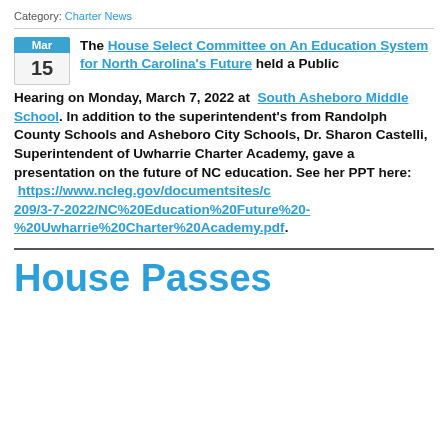Category: Charter News
The House Select Committee on An Education System for North Carolina's Future held a Public Hearing on Monday, March 7, 2022 at South Asheboro Middle School. In addition to the superintendent's from Randolph County Schools and Asheboro City Schools, Dr. Sharon Castelli, Superintendent of Uwharrie Charter Academy, gave a presentation on the future of NC education. See her PPT here: https://www.ncleg.gov/documentsites/c209/3-7-2022/NC%20Education%20Future%20-%20Uwharrie%20Charter%20Academy.pdf.
House Passes